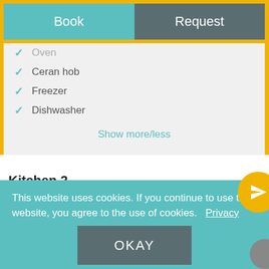Book | Request
Oven
Ceran hob
Freezer
Dishwasher
Show more/less
Kitchen 2
Fully equipped kitchen
This website uses cookies. If you continue to use the website, you agree to the use of cookies.  Privacy
OKAY